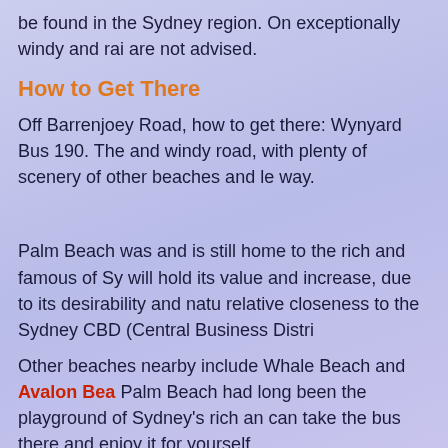be found in the Sydney region. On exceptionally windy and rainy days are not advised.
How to Get There
Off Barrenjoey Road, how to get there: Wynyard Bus 190. The and windy road, with plenty of scenery of other beaches and le way.
Palm Beach was and is still home to the rich and famous of Sy will hold its value and increase, due to its desirability and natu relative closeness to the Sydney CBD (Central Business Distri
Other beaches nearby include Whale Beach and Avalon Bea Palm Beach had long been the playground of Sydney's rich an can take the bus there and enjoy it for yourself.
Protection